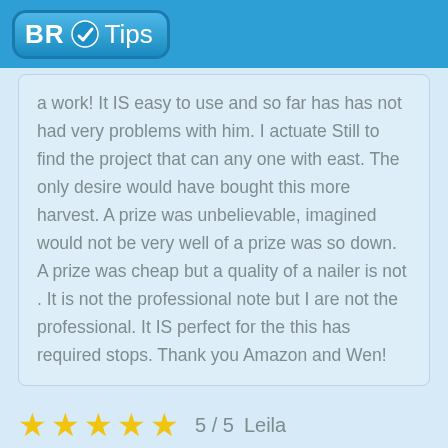BR Tips
a work! It IS easy to use and so far has has not had very problems with him. I actuate Still to find the project that can any one with east. The only desire would have bought this more harvest. A prize was unbelievable, imagined would not be very well of a prize was so down. A prize was cheap but a quality of a nailer is not . It is not the professional note but I are not the professional. It IS perfect for the this has required stops. Thank you Amazon and Wen!
5 / 5   Leila